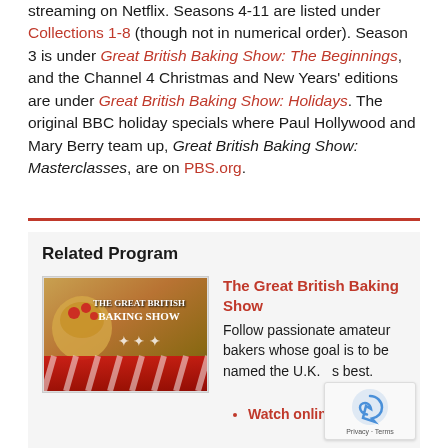streaming on Netflix. Seasons 4-11 are listed under Collections 1-8 (though not in numerical order). Season 3 is under Great British Baking Show: The Beginnings, and the Channel 4 Christmas and New Years' editions are under Great British Baking Show: Holidays. The original BBC holiday specials where Paul Hollywood and Mary Berry team up, Great British Baking Show: Masterclasses, are on PBS.org.
Related Program
[Figure (photo): The Great British Baking Show logo/thumbnail image with decorative baked goods]
The Great British Baking Show
Follow passionate amateur bakers whose goal is to be named the U.K.’s best.
Watch online »